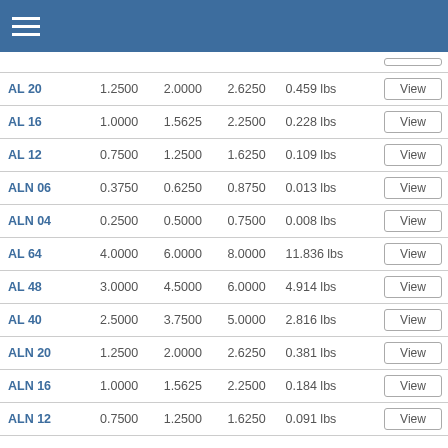| Name | Col1 | Col2 | Col3 | Weight | Action |
| --- | --- | --- | --- | --- | --- |
| AL 20 | 1.2500 | 2.0000 | 2.6250 | 0.459 lbs | View |
| AL 16 | 1.0000 | 1.5625 | 2.2500 | 0.228 lbs | View |
| AL 12 | 0.7500 | 1.2500 | 1.6250 | 0.109 lbs | View |
| ALN 06 | 0.3750 | 0.6250 | 0.8750 | 0.013 lbs | View |
| ALN 04 | 0.2500 | 0.5000 | 0.7500 | 0.008 lbs | View |
| AL 64 | 4.0000 | 6.0000 | 8.0000 | 11.836 lbs | View |
| AL 48 | 3.0000 | 4.5000 | 6.0000 | 4.914 lbs | View |
| AL 40 | 2.5000 | 3.7500 | 5.0000 | 2.816 lbs | View |
| ALN 20 | 1.2500 | 2.0000 | 2.6250 | 0.381 lbs | View |
| ALN 16 | 1.0000 | 1.5625 | 2.2500 | 0.184 lbs | View |
| ALN 12 | 0.7500 | 1.2500 | 1.6250 | 0.091 lbs | View |